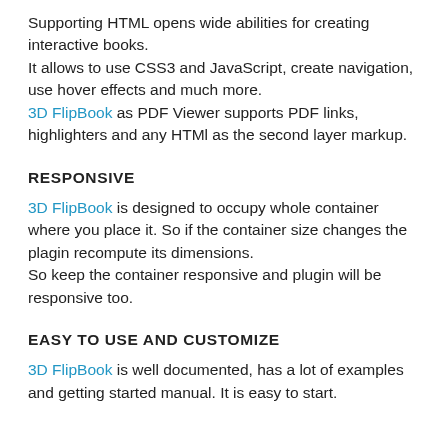Supporting HTML opens wide abilities for creating interactive books.
It allows to use CSS3 and JavaScript, create navigation, use hover effects and much more.
3D FlipBook as PDF Viewer supports PDF links, highlighters and any HTMl as the second layer markup.
RESPONSIVE
3D FlipBook is designed to occupy whole container where you place it. So if the container size changes the plagin recompute its dimensions.
So keep the container responsive and plugin will be responsive too.
EASY TO USE AND CUSTOMIZE
3D FlipBook is well documented, has a lot of examples and getting started manual. It is easy to start.